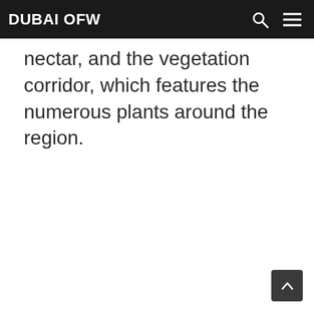DUBAI OFW
nectar, and the vegetation corridor, which features the numerous plants around the region.